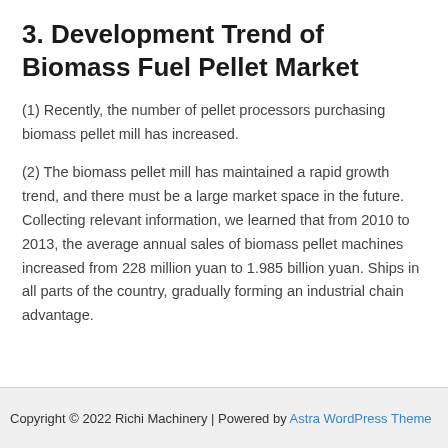3. Development Trend of Biomass Fuel Pellet Market
(1) Recently, the number of pellet processors purchasing biomass pellet mill has increased.
(2) The biomass pellet mill has maintained a rapid growth trend, and there must be a large market space in the future. Collecting relevant information, we learned that from 2010 to 2013, the average annual sales of biomass pellet machines increased from 228 million yuan to 1.985 billion yuan. Ships in all parts of the country, gradually forming an industrial chain advantage.
Copyright © 2022 Richi Machinery | Powered by Astra WordPress Theme